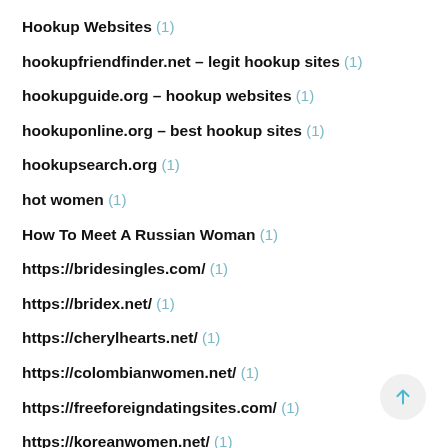Hookup Websites (1)
hookupfriendfinder.net – legit hookup sites (1)
hookupguide.org – hookup websites (1)
hookuponline.org – best hookup sites (1)
hookupsearch.org (1)
hot women (1)
How To Meet A Russian Woman (1)
https://bridesingles.com/ (1)
https://bridex.net/ (1)
https://cherylhearts.net/ (1)
https://colombianwomen.net/ (1)
https://freeforeigndatingsites.com/ (1)
https://koreanwomen.net/ (1)